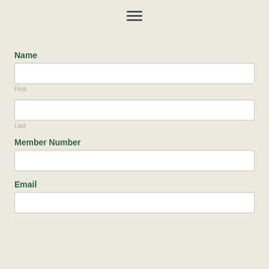[Figure (other): Hamburger menu icon (three horizontal lines)]
Name
First
Last
Member Number
Email